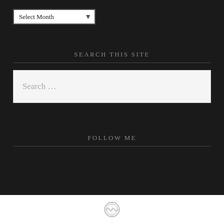Select Month
SEARCH THIS SITE
Search …
FOLLOW ME
[Figure (logo): WordPress logo circle icon in gray outline]